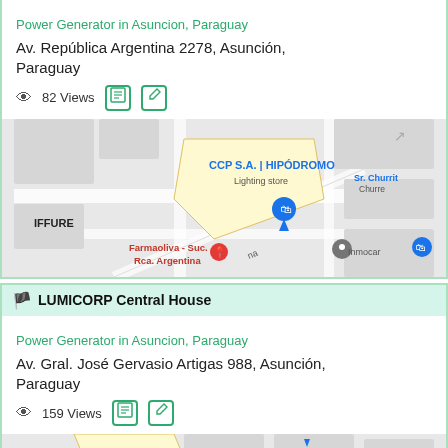Power Generator in Asuncion, Paraguay
Av. República Argentina 2278, Asunción, Paraguay
82 Views
[Figure (map): Google Maps snippet showing CCP S.A. | HIPÓDROMO area in Asunción with markers for Farmaoliva - Suc. Rca. Argentina, Inmocar, Sr. Churrito, and a blue shopping bag pin for the listing.]
🏴 LUMICORP Central House
Power Generator in Asuncion, Paraguay
Av. Gral. José Gervasio Artigas 988, Asunción, Paraguay
159 Views
[Figure (map): Partial Google Maps snippet showing Tema Automotores S.A. area.]